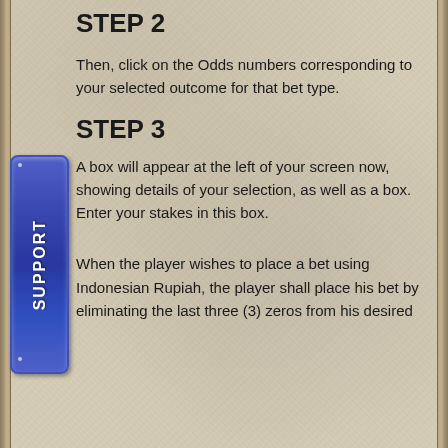STEP 2
Then, click on the Odds numbers corresponding to your selected outcome for that bet type.
STEP 3
A box will appear at the left of your screen now, showing details of your selection, as well as a box. Enter your stakes in this box.
When the player wishes to place a bet using Indonesian Rupiah, the player shall place his bet by eliminating the last three (3) zeros from his desired